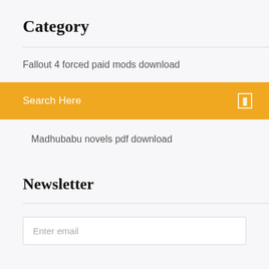Category
Fallout 4 forced paid mods download
Search Here
Madhubabu novels pdf download
Newsletter
Enter email